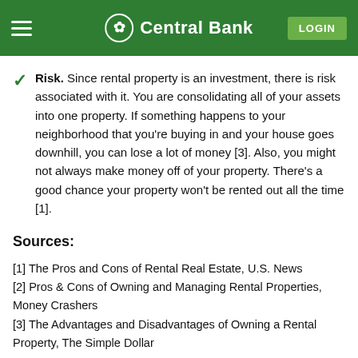Central Bank
Risk. Since rental property is an investment, there is risk associated with it. You are consolidating all of your assets into one property. If something happens to your neighborhood that you're buying in and your house goes downhill, you can lose a lot of money [3]. Also, you might not always make money off of your property. There's a good chance your property won't be rented out all the time [1].
Sources:
[1] The Pros and Cons of Rental Real Estate, U.S. News
[2] Pros & Cons of Owning and Managing Rental Properties, Money Crashers
[3] The Advantages and Disadvantages of Owning a Rental Property, The Simple Dollar